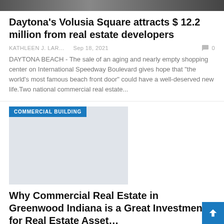[Figure (photo): Top strip of a photo showing buildings/streetscape]
Daytona's Volusia Square attracts $ 12.2 million from real estate developers
KATHLEEN J. LAR...   Sep 18, 2021   0
DAYTONA BEACH - The sale of an aging and nearly empty shopping center on International Speedway Boulevard gives hope that "the world's most famous beach front door" could have a well-deserved new life.Two national commercial real estate...
[Figure (photo): Commercial Building placeholder image with COMMERCIAL BUILDING badge]
Why Commercial Real Estate in Greenwood Indiana is a Great Investment for Real Estate Asset...
KATHLEEN J. LAR...   Sep 17, 2021
Commercial Real Estate in Greenwood Indiana by Merrill Property Group